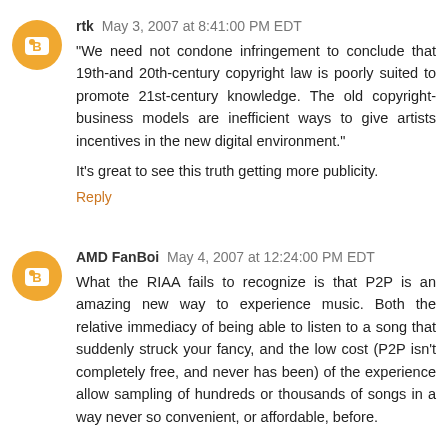rtk May 3, 2007 at 8:41:00 PM EDT
"We need not condone infringement to conclude that 19th- and 20th-century copyright law is poorly suited to promote 21st-century knowledge. The old copyright-business models are inefficient ways to give artists incentives in the new digital environment."
It's great to see this truth getting more publicity.
Reply
AMD FanBoi May 4, 2007 at 12:24:00 PM EDT
What the RIAA fails to recognize is that P2P is an amazing new way to experience music. Both the relative immediacy of being able to listen to a song that suddenly struck your fancy, and the low cost (P2P isn't completely free, and never has been) of the experience allow sampling of hundreds or thousands of songs in a way never so convenient, or affordable, before.